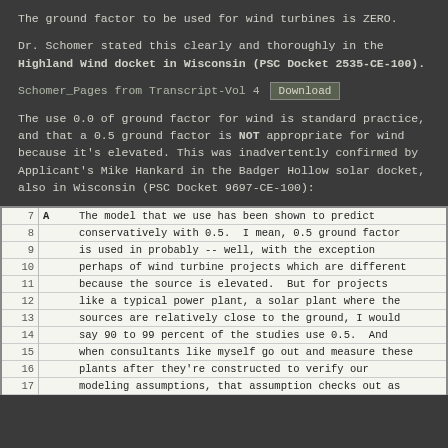The ground factor to be used for wind turbines is ZERO.
Dr. Schomer stated this clearly and thoroughly in the Highland Wind docket in Wisconsin (PSC Docket 2535-CE-100).
Schomer_Pages from Transcript-Vol 4   Download
The use 0.0 of ground factor for wind is standard practice, and that a 0.5 ground factor is NOT appropriate for wind because it's elevated. This was inadvertently confirmed by Applicant's Mike Hankard in the Badger Hollow solar docket, also in Wisconsin (PSC Docket 9697-CE-100):
| Line | Speaker | Text |
| --- | --- | --- |
| 7 | A | The model that we use has been shown to predict |
| 8 |  | conservatively with 0.5.  I mean, 0.5 ground factor |
| 9 |  | is used in probably -- well, with the exception |
| 10 |  | perhaps of wind turbine projects which are different |
| 11 |  | because the source is elevated.  But for projects |
| 12 |  | like a typical power plant, a solar plant where the |
| 13 |  | sources are relatively close to the ground, I would |
| 14 |  | say 90 to 99 percent of the studies use 0.5.  And |
| 15 |  | when consultants like myself go out and measure these |
| 16 |  | plants after they're constructed to verify our |
| 17 |  | modeling assumptions, that assumption checks out as |